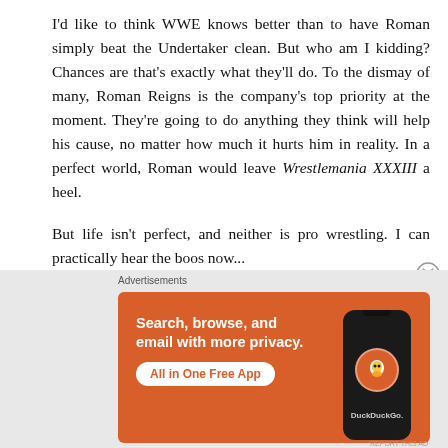I'd like to think WWE knows better than to have Roman simply beat the Undertaker clean. But who am I kidding? Chances are that's exactly what they'll do. To the dismay of many, Roman Reigns is the company's top priority at the moment. They're going to do anything they think will help his cause, no matter how much it hurts him in reality. In a perfect world, Roman would leave Wrestlemania XXXIII a heel.
But life isn't perfect, and neither is pro wrestling. I can practically hear the boos now...
[Figure (infographic): DuckDuckGo advertisement banner with orange background. Text reads: Search, browse, and email with more privacy. All in One Free App. Shows a smartphone with DuckDuckGo logo.]